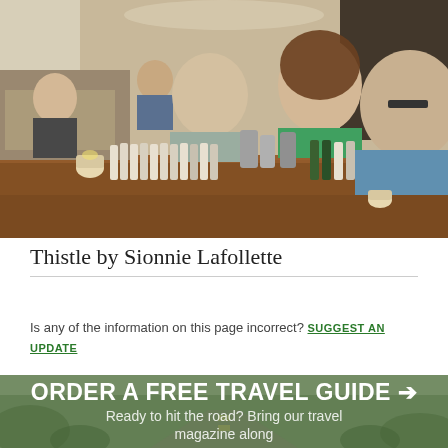[Figure (photo): Interior bar scene with bartender serving drinks to a smiling couple at a wooden bar counter lined with bottles. Other patrons visible in background seating.]
Thistle by Sionnie Lafollette
Is any of the information on this page incorrect? SUGGEST AN UPDATE
[Figure (photo): Green scenic road/travel banner background with text overlay: ORDER A FREE TRAVEL GUIDE → Ready to hit the road? Bring our travel magazine along]